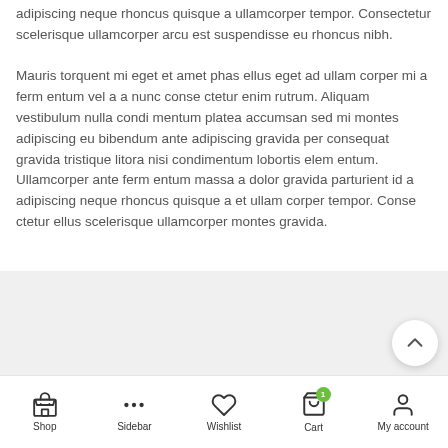adipiscing neque rhoncus quisque a ullamcorper tempor. Consectetur scelerisque ullamcorper arcu est suspendisse eu rhoncus nibh.
Mauris torquent mi eget et amet phas ellus eget ad ullam corper mi a ferm entum vel a a nunc conse ctetur enim rutrum. Aliquam vestibulum nulla condi mentum platea accumsan sed mi montes adipiscing eu bibendum ante adipiscing gravida per consequat gravida tristique litora nisi condimentum lobortis elem entum. Ullamcorper ante ferm entum massa a dolor gravida parturient id a adipiscing neque rhoncus quisque a et ullam corper tempor. Conse ctetur ellus scelerisque ullamcorper montes gravida.
[Figure (other): Gray placeholder box at the bottom of the content area with a scroll-to-top circular button on the right]
Shop | Sidebar | Wishlist | Cart (1) | My account